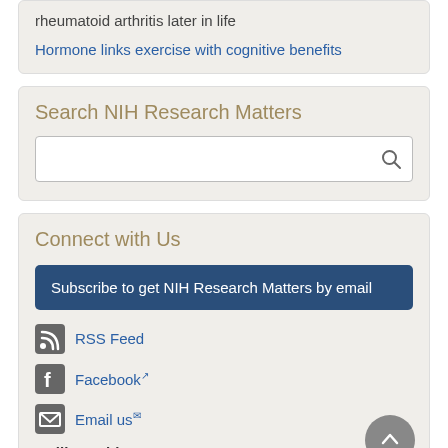rheumatoid arthritis later in life
Hormone links exercise with cognitive benefits
Search NIH Research Matters
Connect with Us
Subscribe to get NIH Research Matters by email
RSS Feed
Facebook
Email us
Mailing Address: